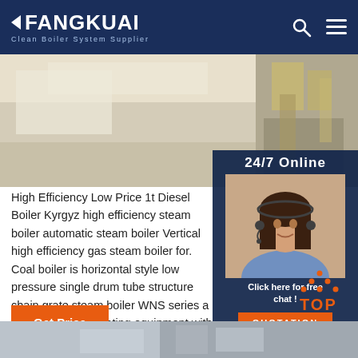FANGKUAI Clean Boiler System Supplier
[Figure (photo): Banner image showing a boiler or industrial flooring on the left and machinery equipment on the right]
[Figure (photo): 24/7 online customer service agent (woman with headset) with 'Click here for free chat!' text and orange QUOTATION button]
High Efficiency Low Price 1t Diesel Boiler Kyrgyz high efficiency steam boiler automatic steam boiler Vertical high efficiency gas steam boiler for. Coal boiler is horizontal style low pressure single drum tube structure chain grate steam boiler WNS series a safe and (98%) heating equipment with automatic assemble with flue gas three pass and wet back
[Figure (infographic): Orange 'TOP' scroll-to-top button with dotted triangle icon above it]
[Figure (photo): Bottom strip image showing industrial equipment]